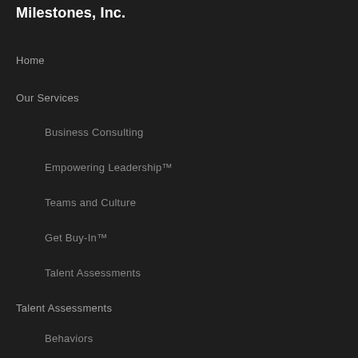Milestones, Inc.
Home
Our Services
Business Consulting
Empowering Leadership™
Teams and Culture
Get Buy-In™
Talent Assessments
Talent Assessments
Behaviors
Motivation Drivers